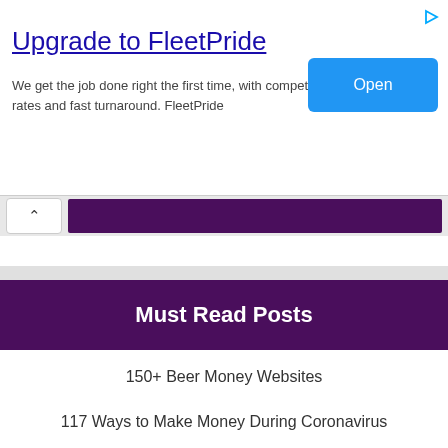[Figure (screenshot): Advertisement banner for FleetPride with an 'Open' button]
Upgrade to FleetPride
We get the job done right the first time, with competitive rates and fast turnaround. FleetPride
Must Read Posts
150+ Beer Money Websites
117 Ways to Make Money During Coronavirus